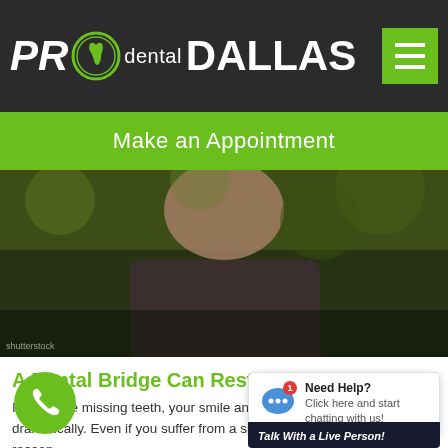PRO dental DALLAS
Make an Appointment
[Figure (photo): Close-up photo of a man smiling, taken outdoors with green foliage background]
A Dental Bridge Can Restore Your Smile
If you have missing teeth, your smile and oral health can suffer dramatically. Even if you suffer from a single lost tooth, whatever the reason,
READ MORE »
[Figure (other): Green circular phone call button]
[Figure (other): Need Help? chat widget — Click here and start chatting with us! Talk With a Live Person!]